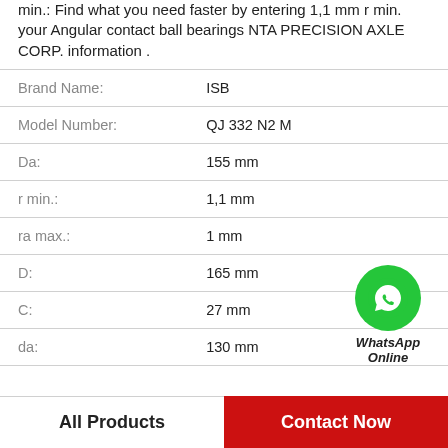min.: Find what you need faster by entering 1,1 mm r min. your Angular contact ball bearings NTA PRECISION AXLE CORP. information .
| Property | Value |
| --- | --- |
| Brand Name: | ISB |
| Model Number: | QJ 332 N2 M |
| Da: | 155 mm |
| r min.: | 1,1 mm |
| ra max.: | 1 mm |
| D: | 165 mm |
| C: | 27 mm |
| da: | 130 mm |
[Figure (logo): WhatsApp Online green circle icon with phone handset, labeled WhatsApp Online]
All Products
Contact Now